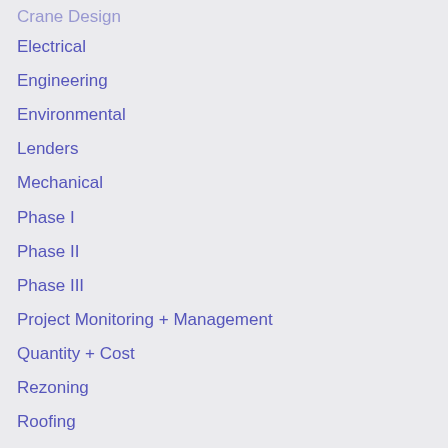Crane Design
Electrical
Engineering
Environmental
Lenders
Mechanical
Phase I
Phase II
Phase III
Project Monitoring + Management
Quantity + Cost
Rezoning
Roofing
Structural
Uncategorized